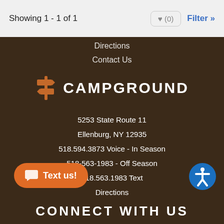Showing 1 - 1 of 1
Directions
Contact Us
CAMPGROUND
5253 State Route 11
Ellenburg, NY 12935
518.594.3873 Voice - In Season
518-563-1983 - Off Season
518.563.1983 Text
Directions
Contact Us
CONNECT WITH US